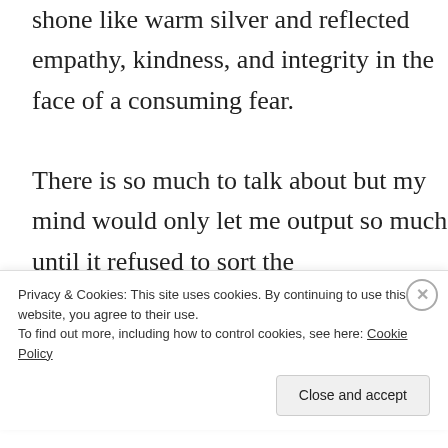shone like warm silver and reflected empathy, kindness, and integrity in the face of a consuming fear.

There is so much to talk about but my mind would only let me output so much until it refused to sort the
Privacy & Cookies: This site uses cookies. By continuing to use this website, you agree to their use.
To find out more, including how to control cookies, see here: Cookie Policy
Close and accept